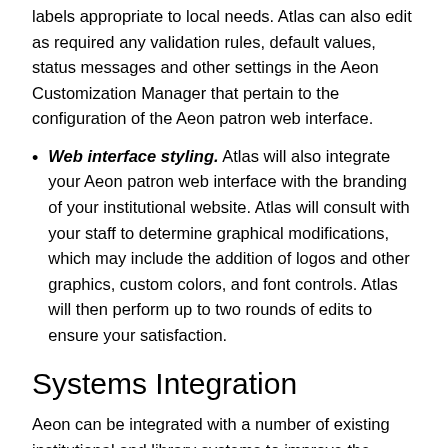labels appropriate to local needs. Atlas can also edit as required any validation rules, default values, status messages and other settings in the Aeon Customization Manager that pertain to the configuration of the Aeon patron web interface.
Web interface styling. Atlas will also integrate your Aeon patron web interface with the branding of your institutional website. Atlas will consult with your staff to determine graphical modifications, which may include the addition of logos and other graphics, custom colors, and font controls. Atlas will then perform up to two rounds of edits to ensure your satisfaction.
Systems Integration
Aeon can be integrated with a number of existing institutional and library systems to improve the patron experience and staff efficiency.  In general, systems